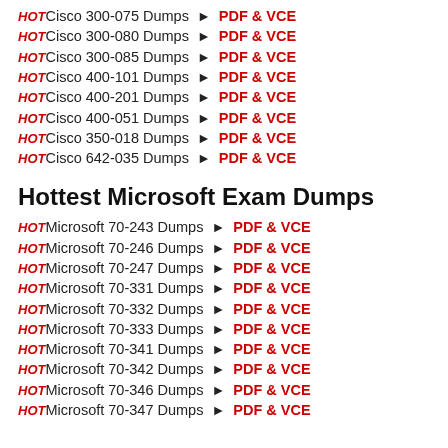HOT Cisco 300-075 Dumps ► PDF & VCE
HOT Cisco 300-080 Dumps ► PDF & VCE
HOT Cisco 300-085 Dumps ► PDF & VCE
HOT Cisco 400-101 Dumps ► PDF & VCE
HOT Cisco 400-201 Dumps ► PDF & VCE
HOT Cisco 400-051 Dumps ► PDF & VCE
HOT Cisco 350-018 Dumps ► PDF & VCE
HOT Cisco 642-035 Dumps ► PDF & VCE
Hottest Microsoft Exam Dumps
HOT Microsoft 70-243 Dumps ► PDF & VCE
HOT Microsoft 70-246 Dumps ► PDF & VCE
HOT Microsoft 70-247 Dumps ► PDF & VCE
HOT Microsoft 70-331 Dumps ► PDF & VCE
HOT Microsoft 70-332 Dumps ► PDF & VCE
HOT Microsoft 70-333 Dumps ► PDF & VCE
HOT Microsoft 70-341 Dumps ► PDF & VCE
HOT Microsoft 70-342 Dumps ► PDF & VCE
HOT Microsoft 70-346 Dumps ► PDF & VCE
HOT Microsoft 70-347 Dumps ► PDF & VCE